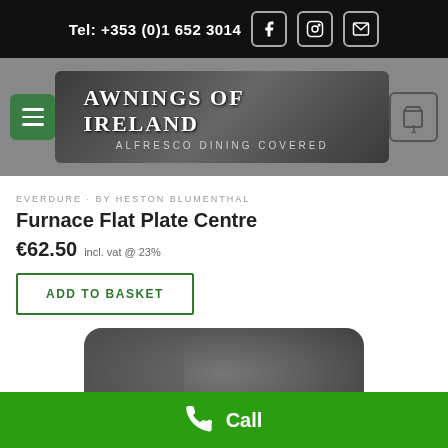Tel: +353 (0)1 652 3014
[Figure (logo): Awnings of Ireland logo with text 'ALFRESCO DINING COVERED' on dark background]
EVERDURE · BY HESTON BLUMENTHAL
Furnace Flat Plate Centre
€62.50 incl. vat @ 23%
ADD TO BASKET
[Figure (photo): Dark grey flat plate/griddle product photo, rounded corners, partially visible]
Call